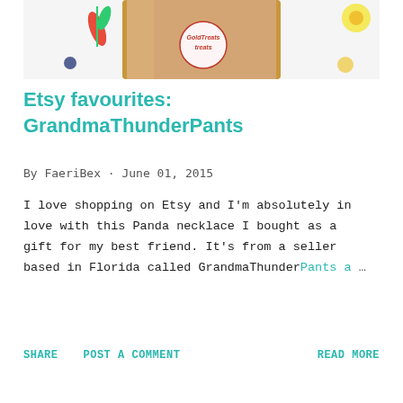[Figure (photo): A kraft paper bag with a circular 'GoldTreats' sticker label, surrounded by decorative elements including a red leaf, small blue dot, and yellow flower/circle on a white background.]
Etsy favourites: GrandmaThunderPants
By FaeriBex · June 01, 2015
I love shopping on Etsy and I'm absolutely in love with this Panda necklace I bought as a gift for my best friend. It's from a seller based in Florida called GrandmaThunderPants a …
SHARE   POST A COMMENT   READ MORE